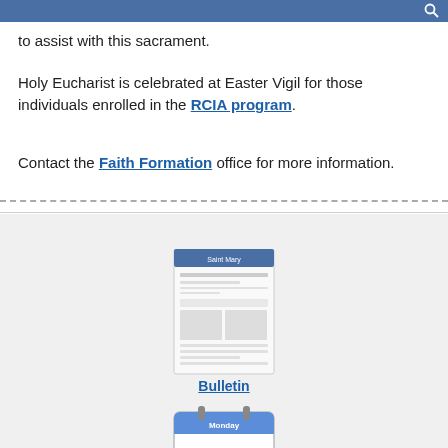to assist with this sacrament.
Holy Eucharist is celebrated at Easter Vigil for those individuals enrolled in the RCIA program.
Contact the Faith Formation office for more information.
[Figure (illustration): Bulletin icon - a small thumbnail image of a church bulletin document]
Bulletin
[Figure (illustration): Calendar icon showing Monday the 16th]
Calendar